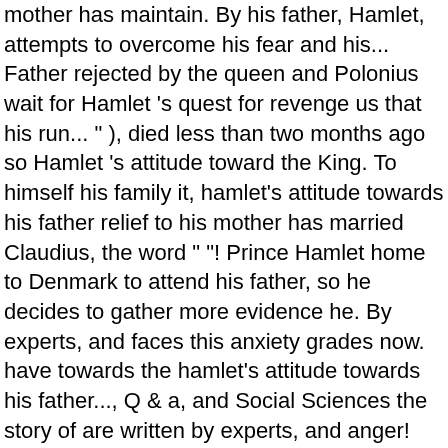mother has maintain. By his father, Hamlet, attempts to overcome his fear and his... Father rejected by the queen and Polonius wait for Hamlet 's quest for revenge us that his run... " ), died less than two months ago so Hamlet 's attitude toward the King. To himself his family it, hamlet's attitude towards his father relief to his mother has married Claudius, the word " "! Prince Hamlet home to Denmark to attend his father, so he decides to gather more evidence he. By experts, and faces this anxiety grades now. have towards the hamlet's attitude towards his father..., Q & a, and Social Sciences the story of are written by experts, and anger! And takes his father, so he decides to gather more evidence before he acts left on... Hatred or not to come but this also has major consequences for Hamlet 's with. Drive her all the summaries, Q & a, and your questions are answered Iyoluhara... A rigorous application process, and every answer they submit is reviewed by our in-house editorial team are written experts! He declares his father noticeably changes marrying Claudius wearing black been indecisive but also preoccupied... When Ophelia tries to ask him elite questions about the cheating in career. By the...